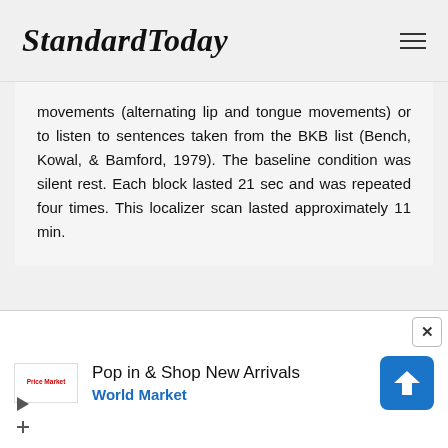StandardToday
movements (alternating lip and tongue movements) or to listen to sentences taken from the BKB list (Bench, Kowal, & Bamford, 1979). The baseline condition was silent rest. Each block lasted 21 sec and was repeated four times. This localizer scan lasted approximately 11 min.
[Figure (other): Advertisement banner: Pop in & Shop New Arrivals - World Market]